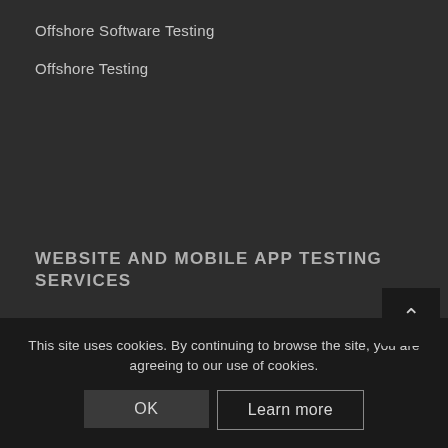Offshore Software Testing
Offshore Testing
WEBSITE AND MOBILE APP TESTING SERVICES
Web Application Testing
Mobile Application Testing
This site uses cookies. By continuing to browse the site, you are agreeing to our use of cookies.
OK
Learn more